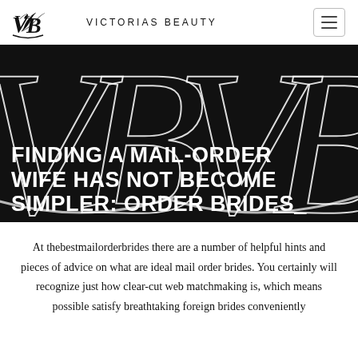VICTORIAS BEAUTY
[Figure (illustration): Black hero banner with large decorative VB monogram letters in white, overlaid with article title text in white uppercase: FINDING A MAIL-ORDER WIFE HAS NOT BECOME SIMPLER: ORDER BRIDES]
FINDING A MAIL-ORDER WIFE HAS NOT BECOME SIMPLER: ORDER BRIDES
At thebestmailorderbrides there are a number of helpful hints and pieces of advice on what are ideal mail order brides. You certainly will recognize just how clear-cut web matchmaking is, which means possible satisfy breathtaking foreign brides conveniently